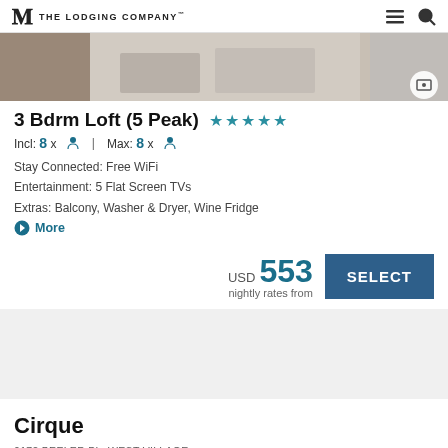The Lodging Company
[Figure (photo): Interior/exterior property photo showing rugs and hallway]
3 Bdrm Loft (5 Peak) ★★★★★
Incl: 8x [person icon] | Max: 8x [person icon]
Stay Connected: Free WiFi
Entertainment: 5 Flat Screen TVs
Extras: Balcony, Washer & Dryer, Wine Fridge
More
USD 553 nightly rates from
SELECT
Cirque
0172 BEELER PL, WEST VILLAGE
COPPER MOUNTAIN, COLORADO, USA